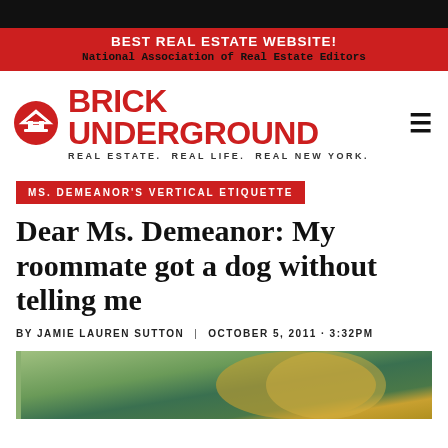BEST REAL ESTATE WEBSITE!
National Association of Real Estate Editors
BRICK UNDERGROUND
REAL ESTATE. REAL LIFE. REAL NEW YORK.
MS. DEMEANOR'S VERTICAL ETIQUETTE
Dear Ms. Demeanor: My roommate got a dog without telling me
BY JAMIE LAUREN SUTTON  |  OCTOBER 5, 2011 · 3:32PM
[Figure (photo): Close-up photo of a dog, partial view showing head/face area with green/yellow blurred background]